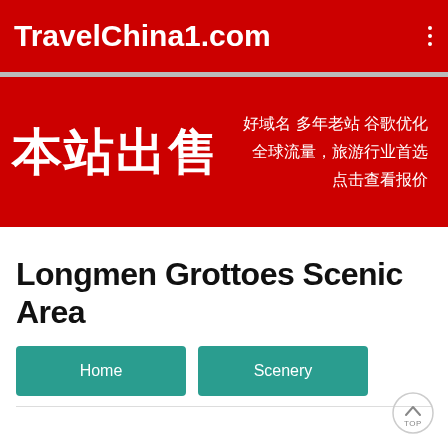TravelChina1.com
[Figure (infographic): Red banner advertisement in Chinese: 本站出售 好域名 多年老站 谷歌优化 全球流量，旅游行业首选 点击查看报价]
Longmen Grottoes Scenic Area
Home
Scenery